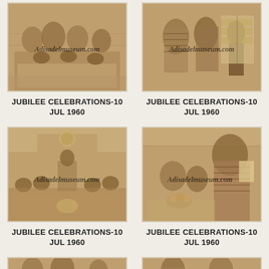[Figure (photo): Sepia photo of people seated at a gathering/celebration, women in traditional dress. Watermark: Adisadelmuseum.com]
[Figure (photo): Sepia photo of people at a jubilee celebration, women in kente cloth standing near display boards. Watermark: Adisadelmuseum.com]
JUBILEE CELEBRATIONS-10 JUL 1960
JUBILEE CELEBRATIONS-10 JUL 1960
[Figure (photo): Sepia photo of a formal gathering/meeting with a speaker at podium under a crest/emblem, audience seated. Watermark: Adisadelmuseum.com]
[Figure (photo): Sepia photo of a man in kente cloth at a celebration event with flowers on table. Watermark: Adisadelmuseum.com]
JUBILEE CELEBRATIONS-10 JUL 1960
JUBILEE CELEBRATIONS-10 JUL 1960
[Figure (photo): Sepia photo partially visible at bottom of page - partial view of another jubilee celebrations photo]
[Figure (photo): Sepia photo partially visible at bottom of page - partial view of another jubilee celebrations photo]